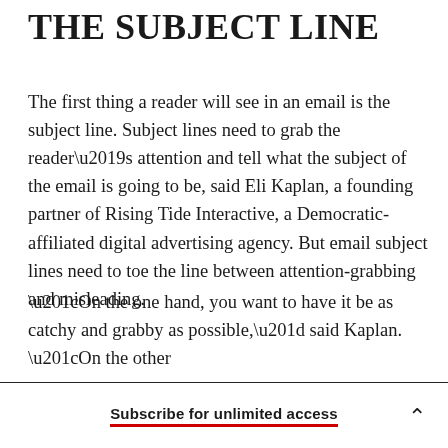THE SUBJECT LINE
The first thing a reader will see in an email is the subject line. Subject lines need to grab the reader’s attention and tell what the subject of the email is going to be, said Eli Kaplan, a founding partner of Rising Tide Interactive, a Democratic-affiliated digital advertising agency. But email subject lines need to toe the line between attention-grabbing and misleading.
“On the one hand, you want to have it be as catchy and grabby as possible,” said Kaplan. “On the other
Subscribe for unlimited access